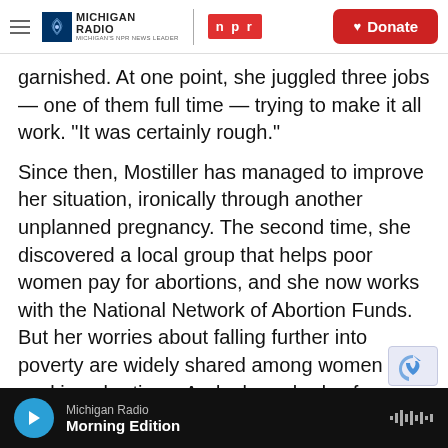Michigan Radio | NPR | Donate
garnished. At one point, she juggled three jobs — one of them full time — trying to make it all work. "It was certainly rough."
Since then, Mostiller has managed to improve her situation, ironically through another unplanned pregnancy. The second time, she discovered a local group that helps poor women pay for abortions, and she now works with the National Network of Abortion Funds. But her worries about falling further into poverty are widely shared among women seeking abortions. And a large body of research proves them right.
Michigan Radio | Morning Edition